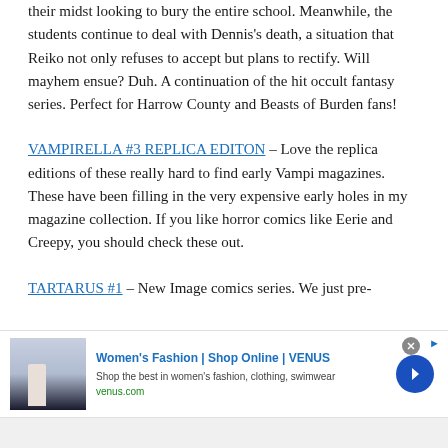their midst looking to bury the entire school. Meanwhile, the students continue to deal with Dennis's death, a situation that Reiko not only refuses to accept but plans to rectify. Will mayhem ensue? Duh. A continuation of the hit occult fantasy series. Perfect for Harrow County and Beasts of Burden fans!
VAMPIRELLA #3 REPLICA EDITON – Love the replica editions of these really hard to find early Vampi magazines. These have been filling in the very expensive early holes in my magazine collection. If you like horror comics like Eerie and Creepy, you should check these out.
TARTARUS #1 – New Image comics series. We just pre-
[Figure (other): Advertisement banner for Women's Fashion Shop Online VENUS with image of woman, title text, subtitle, venus.com URL, blue arrow button, and close X button]